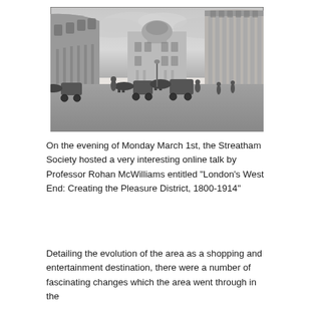[Figure (illustration): Historical engraving/etching of London's Regent Street or similar Georgian/Regency-era street scene showing curved colonnaded buildings, horse-drawn carriages, and pedestrians in period dress. A domed building is visible in the background center.]
On the evening of Monday March 1st, the Streatham Society hosted a very interesting online talk by Professor Rohan McWilliams entitled "London's West End: Creating the Pleasure District, 1800-1914"
Detailing the evolution of the area as a shopping and entertainment destination, there were a number of fascinating changes which the area went through in the